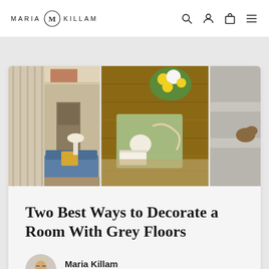MARIA KILLAM
[Figure (photo): Three interior/lifestyle photos: a living room with staircase and blue sofa, a wooden coffee table with flowers and decor from above, and a partial staircase shot with a dog]
Two Best Ways to Decorate a Room With Grey Floors
Maria Killam
05/30/2022